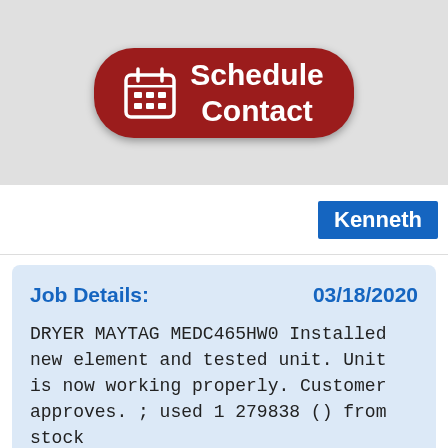[Figure (other): Red rounded button with calendar icon and text Schedule Contact]
Kenneth
Job Details:   03/18/2020
DRYER MAYTAG MEDC465HW0 Installed new element and tested unit. Unit is now working properly. Customer approves. ; used 1 279838 () from stock
[Figure (other): Partial signature visible at bottom of page]